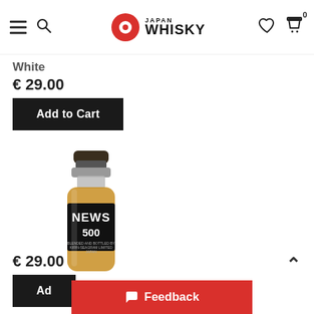Japan Whisky — navigation bar with hamburger menu, search, logo, heart, and cart icons
White
€ 29.00
Add to Cart
[Figure (photo): Bottle of Kirin News Whisky 500ml with distinctive black and white newspaper-style label reading NEWS 500]
Kirin News Whisky 500ml
€ 29.00
Add to Cart
Feedback